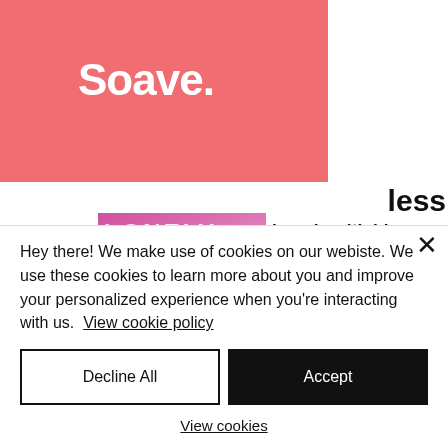[Figure (logo): Soave logo — white bold text 'Soave.' on a coral/salmon pink background]
less
[Figure (photo): Album art for 'Lonely' — silhouette of a person in purple/pink tones]
Lonely with his new banger
4 dagen geleden
[Figure (photo): Album art for 'Wasting My Time On You' — orange/brown tones with bold text overlay]
Refeci & Colone aren't Wasting any Time with
Hey there! We make use of cookies on our webiste. We use these cookies to learn more about you and improve your personalized experience when you're interacting with us.  View cookie policy
Decline All
Accept
View cookies